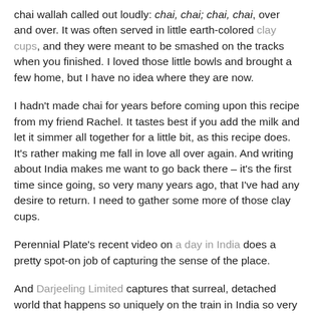chai wallah called out loudly: chai, chai; chai, chai, over and over. It was often served in little earth-colored clay cups, and they were meant to be smashed on the tracks when you finished. I loved those little bowls and brought a few home, but I have no idea where they are now.
I hadn't made chai for years before coming upon this recipe from my friend Rachel. It tastes best if you add the milk and let it simmer all together for a little bit, as this recipe does. It's rather making me fall in love all over again. And writing about India makes me want to go back there – it's the first time since going, so very many years ago, that I've had any desire to return. I need to gather some more of those clay cups.
Perennial Plate's recent video on a day in India does a pretty spot-on job of capturing the sense of the place.
And Darjeeling Limited captures that surreal, detached world that happens so uniquely on the train in India so very well.